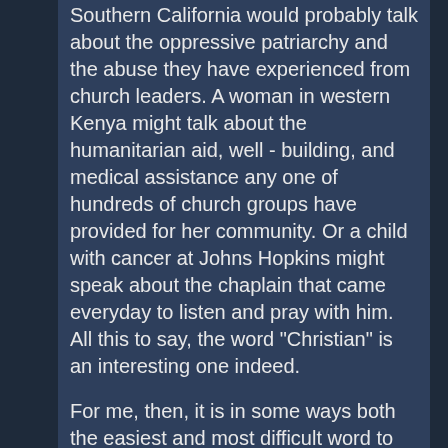Southern California would probably talk about the oppressive patriarchy and the abuse they have experienced from church leaders. A woman in western Kenya might talk about the humanitarian aid, well-building, and medical assistance any one of hundreds of church groups have provided for her community. Or a child with cancer at Johns Hopkins might speak about the chaplain that came everyday to listen and pray with him. All this to say, the word "Christian" is an interesting one indeed.
For me, then, it is in some ways both the easiest and most difficult word to try and define. Easy, because the definition should be fairly simple. One who follows Christ. But difficult, because of all the damage, history, good work, and perceptions that surround it. Regardless, it is definitely worth an attempt for this conversation.
All that said, if I were to attempt to try and synthesize down what Christianity is, at its core, I would probably start with the word story. Christians are those that believe a